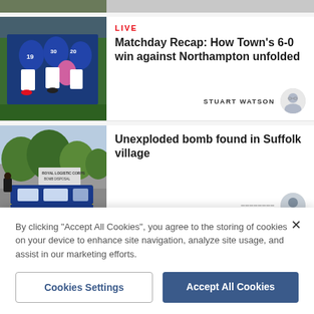[Figure (photo): Cropped top edge of a photo]
[Figure (photo): Football players in blue shirts huddled together on a pitch, one player in pink visible]
LIVE
Matchday Recap: How Town's 6-0 win against Northampton unfolded
STUART WATSON
[Figure (photo): Police car with yellow and blue markings parked near trees, Royal Logistic Corps bomb disposal sign visible in background]
Unexploded bomb found in Suffolk village
By clicking "Accept All Cookies", you agree to the storing of cookies on your device to enhance site navigation, analyze site usage, and assist in our marketing efforts.
Cookies Settings
Accept All Cookies